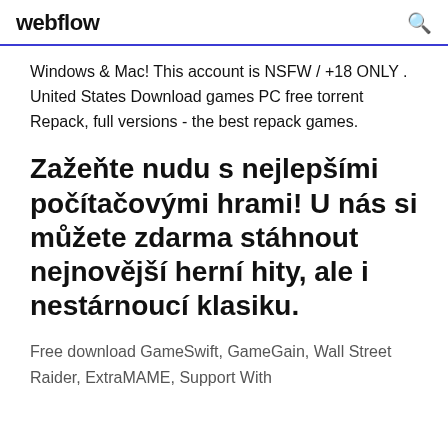webflow
Windows & Mac! This account is NSFW / +18 ONLY . United States Download games PC free torrent Repack, full versions - the best repack games.
Zažeňte nudu s nejlepšími počítačovými hrami! U nás si můžete zdarma stáhnout nejnovější herní hity, ale i nestárnoucí klasiku.
Free download GameSwift, GameGain, Wall Street Raider, ExtraMAME, Support With